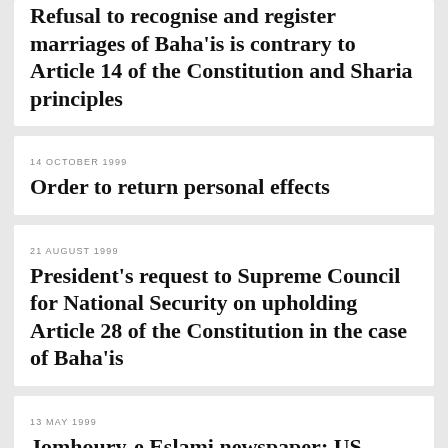Refusal to recognise and register marriages of Baha'is is contrary to Article 14 of the Constitution and Sharia principles
14 OCTOBER 1999
Order to return personal effects
21 AUGUST 1999
President's request to Supreme Council for National Security on upholding Article 28 of the Constitution in the case of Baha'is
13 MAY 1999
Jomhoury-e Eslami newspaper: US president designates a Baha'i as a member of International Religious Commission
16 DECEMBER 1998